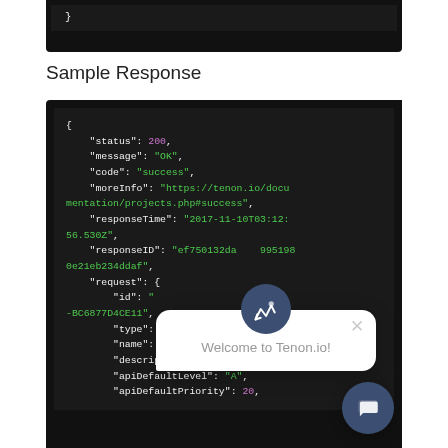[Figure (screenshot): Top code block stub showing closing brace of previous JSON code block on dark background]
Sample Response
[Figure (screenshot): Dark-themed code block showing a JSON sample response with fields: status (200), message ('OK'), code ('success'), moreInfo (URL), responseTime, responseID, request object with id, type ('api'), name ('Example'), description ('Example'), apiDefaultLevel ('A'), apiDefaultPriority (20). Overlaid with a 'Welcome to Tenon.io!' chat popup widget and a chat button.]